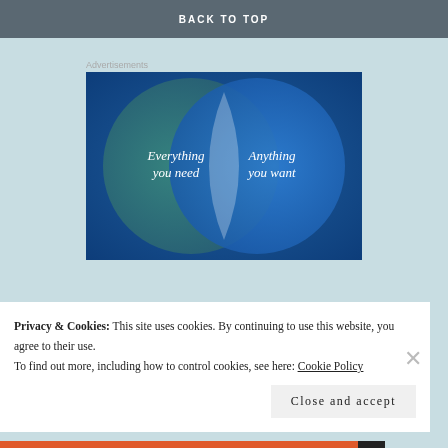BACK TO TOP
Advertisements
[Figure (infographic): Venn diagram with two overlapping circles on a blue/teal gradient background. Left circle (teal/green) labeled 'Everything you need'. Right circle (blue) labeled 'Anything you want'. The overlapping region forms a lens shape in lighter blue/white.]
Privacy & Cookies: This site uses cookies. By continuing to use this website, you agree to their use.
To find out more, including how to control cookies, see here: Cookie Policy
Close and accept